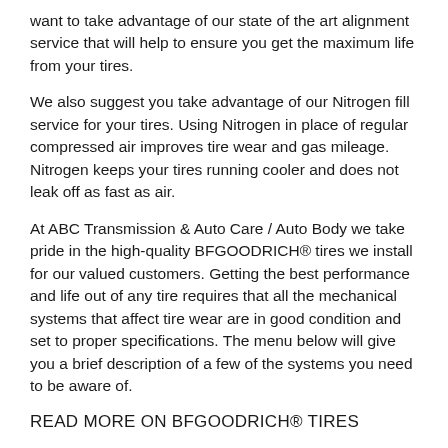want to take advantage of our state of the art alignment service that will help to ensure you get the maximum life from your tires.
We also suggest you take advantage of our Nitrogen fill service for your tires. Using Nitrogen in place of regular compressed air improves tire wear and gas mileage. Nitrogen keeps your tires running cooler and does not leak off as fast as air.
At ABC Transmission & Auto Care / Auto Body we take pride in the high-quality BFGOODRICH® tires we install for our valued customers. Getting the best performance and life out of any tire requires that all the mechanical systems that affect tire wear are in good condition and set to proper specifications. The menu below will give you a brief description of a few of the systems you need to be aware of.
READ MORE ON BFGOODRICH® TIRES